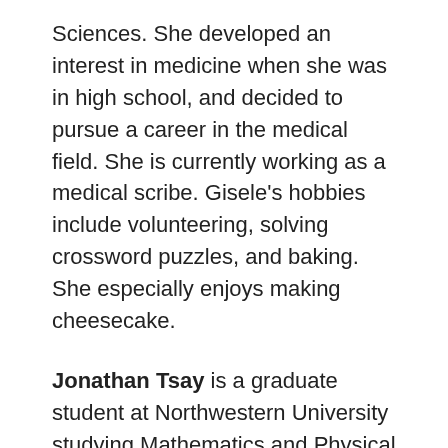Sciences. She developed an interest in medicine when she was in high school, and decided to pursue a career in the medical field. She is currently working as a medical scribe. Gisele's hobbies include volunteering, solving crossword puzzles, and baking. She especially enjoys making cheesecake.
Jonathan Tsay is a graduate student at Northwestern University studying Mathematics and Physical Therapy. He aims to create a global platform that dispatches passionate physical therapists and yoga teachers to areas of high need. Jonathan is also interested in sports, yoga, and manual